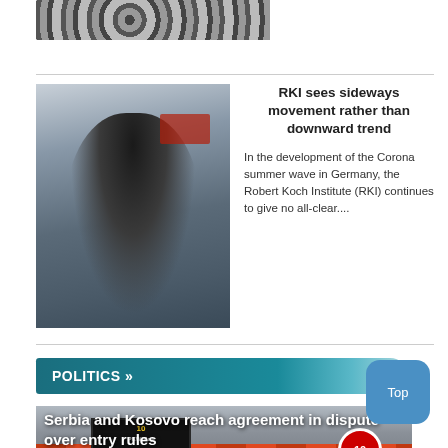[Figure (photo): Top partial image of virus/microscopy image]
[Figure (photo): Person in mask handling COVID test or vaccine materials, wearing glasses, with red/blue supply containers]
RKI sees sideways movement rather than downward trend
In the development of the Corona summer wave in Germany, the Robert Koch Institute (RKI) continues to give no all-clear....
POLITICS »
[Figure (photo): Border crossing toll gate on highway with speed limit signs (10), orange barriers, trucks and vehicles, overcast weather]
Serbia and Kosovo reach agreement in dispute over entry rules